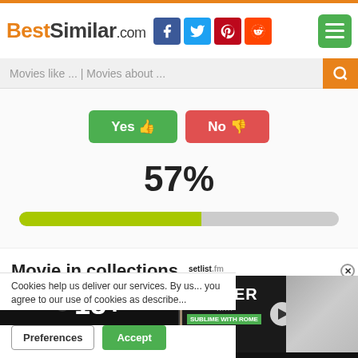BestSimilar.com
Movies like ... | Movies about ...
[Figure (infographic): Yes thumbs up button (green) and No thumbs down button (red), vote buttons]
57%
[Figure (infographic): Progress bar showing 57% filled in yellow-green, remainder in gray]
Movie in collections
[Figure (infographic): Left card: 18+ adult content with Show button, count badge 627. Right card: collection thumbnail with count badge 7938]
Cookies help us deliver our services. By us... you agree to our use of cookies as describe...
Preferences
Accept